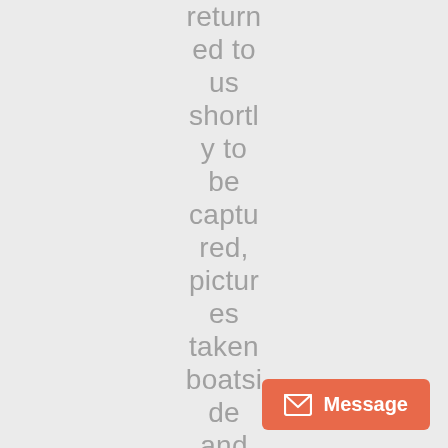returned to us shortly to be captured, pictures taken boatside and released. And with that? Our day was done
[Figure (other): Orange message button with envelope icon and 'Message' label in bottom-right corner]